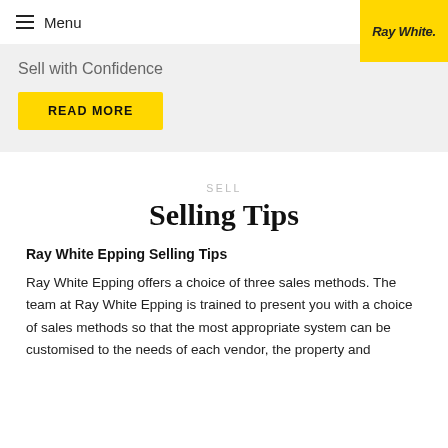≡ Menu
[Figure (logo): Ray White real estate logo on yellow background]
Sell with Confidence
READ MORE
SELL
Selling Tips
Ray White Epping Selling Tips
Ray White Epping offers a choice of three sales methods. The team at Ray White Epping is trained to present you with a choice of sales methods so that the most appropriate system can be customised to the needs of each vendor, the property and